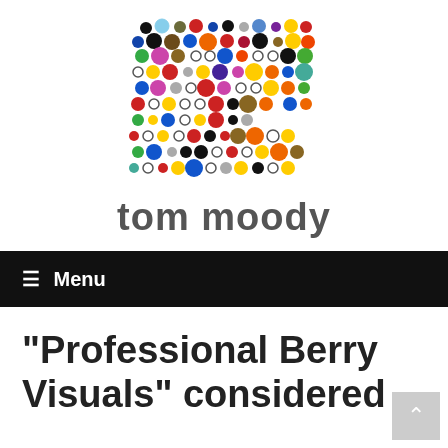[Figure (logo): Colorful dot pattern logo image resembling a Damien Hirst spot painting, arranged in a roughly square grid of multicolored circles of varying sizes on a white background.]
tom moody
≡ Menu
"Professional Berry Visuals" considered